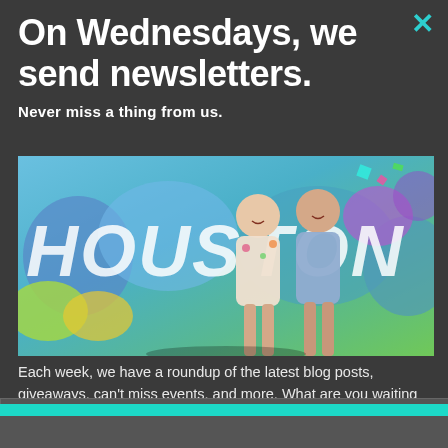On Wednesdays, we send newsletters.
Never miss a thing from us.
[Figure (photo): Two young women smiling and laughing in front of a colorful Houston graffiti mural with bright blues, greens, and purples.]
Each week, we have a roundup of the latest blog posts, giveaways, can't miss events, and more. What are you waiting for? See you in your inbox next Wednesday.
Sign me up.